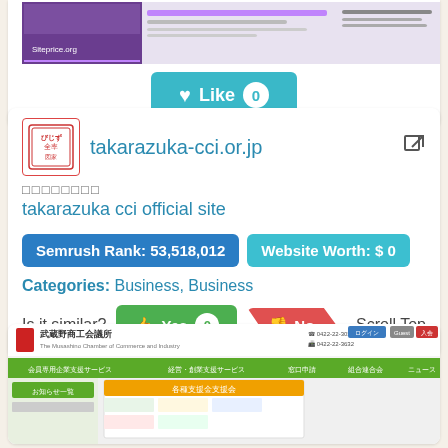[Figure (screenshot): Screenshot of takarazuka-cci.or.jp website preview with Siteprice.org watermark]
[Figure (other): Teal Like button with heart icon and count 0]
takarazuka-cci.or.jp
□□□□□□□□
takarazuka cci official site
Semrush Rank: 53,518,012
Website Worth: $ 0
Categories: Business, Business
Is it similar?
Yes 0
No
Scroll Top
[Figure (screenshot): Screenshot of Musashino Chamber of Commerce and Industry website (武蔵野商工会議所) with green navigation bar]